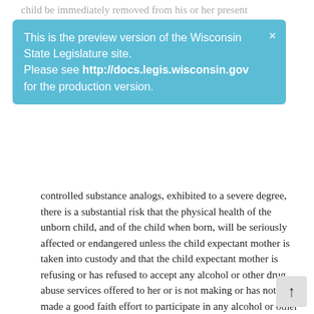child be immediately removed from his or her present custody. The order shall specify that the child be held in
This is the preview version of the Wisconsin State Legislature site. Please see http://docs.legis.wisconsin.gov for the production version.
controlled substance analogs, exhibited to a severe degree, there is a substantial risk that the physical health of the unborn child, and of the child when born, will be seriously affected or endangered unless the child expectant mother is taken into custody and that the child expectant mother is refusing or has refused to accept any alcohol or other drug abuse services offered to her or is not making or has not made a good faith effort to participate in any alcohol or other drug abuse services offered to her. The order shall specify that the child expectant mother be held in custody under s. 48.207 (1).
(d) Circumstances in which a law enforcement officer believes on reasonable grounds that any of the following conditions exists:
1. A capias or a warrant for the child's apprehension has been issued in this state, or that the child is a fugitive from justice.
2. A capias or a warrant for the child's apprehension has been issued in another state.